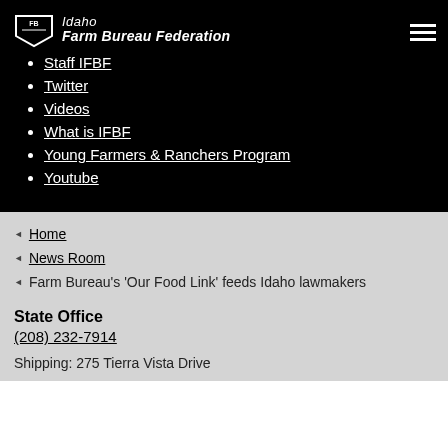[Figure (logo): Idaho Farm Bureau Federation logo — shield emblem with 'Idaho Farm Bureau Federation' text in white on black background]
Staff IFBF
Twitter
Videos
What is IFBF
Young Farmers & Ranchers Program
Youtube
Home
News Room
Farm Bureau's 'Our Food Link' feeds Idaho lawmakers
State Office
(208) 232-7914
Shipping: 275 Tierra Vista Drive